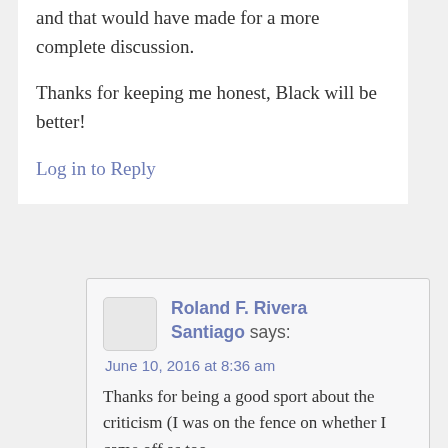and that would have made for a more complete discussion.
Thanks for keeping me honest, Black will be better!
Log in to Reply
Roland F. Rivera Santiago says:
June 10, 2016 at 8:36 am
Thanks for being a good sport about the criticism (I was on the fence on whether I came off as too